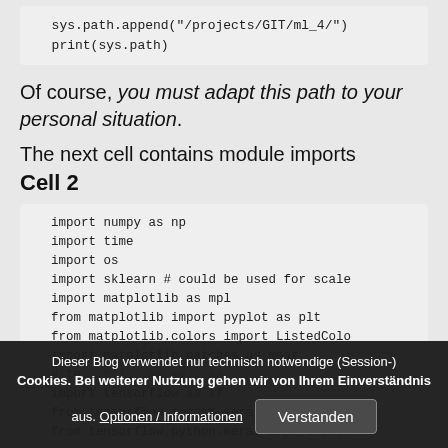sys.path.append("/projects/GIT/ml_4/")
print(sys.path)
Of course, you must adapt this path to your personal situation.
The next cell contains module imports
Cell 2
import numpy as np
import time
import os
import sklearn # could be used for scale
import matplotlib as mpl
from matplotlib import pyplot as plt
from matplotlib.colors import ListedColo
import matplotlib.patches as mpat
# te..rfi...nd ke..as
import tensorflow as tf
from tensorflow import keras as K
from tensorflow.python.keras import back
Dieser Blog verwendet nur technisch notwendige (Session-)Cookies. Bei weiterer Nutzung gehen wir von Ihrem Einverständnis aus. Optionen / Informationen